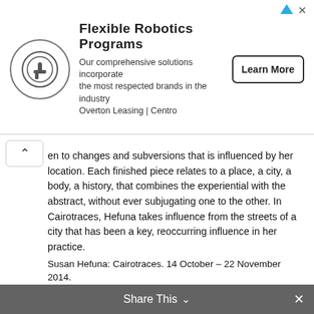[Figure (other): Advertisement banner for Flexible Robotics Programs by Overton Leasing | Centro with a circular logo icon and a Learn More button]
en to changes and subversions that is influenced by her location. Each finished piece relates to a place, a city, a body, a history, that combines the experiential with the abstract, without ever subjugating one to the other. In Cairotraces, Hefuna takes influence from the streets of a city that has been a key, reoccurring influence in her practice.
Accompanying these drawings will be a series of cubic, palm wood structures similarly conceived and constructed in the Egyptian capital. These act as three-dimensional renderings of the exhibited drawings. Both the two-dimensional and three-dimensional work share the influence of the masharabiyas in their fragile and porous crosshatch layers, yet the latter allows the viewer to experience them from several perspectives as well as the interplay of light and shadow that changes through the day, therefore more literally reflecting the architectural resonances within Hefuna's practice.
Susan Hefuna: Cairotraces. 14 October – 22 November 2014.
Share This